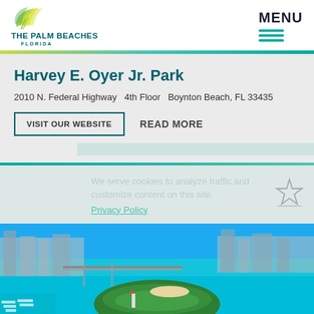[Figure (logo): The Palm Beaches Florida logo with palm frond graphic]
MENU
Harvey E. Oyer Jr. Park
2010 N. Federal Highway  4th Floor  Boynton Beach, FL 33435
VISIT OUR WEBSITE    READ MORE
We serve cookies to analyze traffic and customize content on this site.
Privacy Policy
[Figure (photo): Aerial view of an island surrounded by turquoise water, with city bridges and marina in the background]